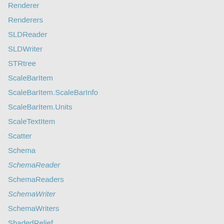Renderer
Renderers
SLDReader
SLDWriter
STRtree
ScaleBarItem
ScaleBarItem.ScaleBarInfo
ScaleBarItem.Units
ScaleTextItem
Scatter
Schema
SchemaReader
SchemaReaders
SchemaWriter
SchemaWriters
ShadedRelief